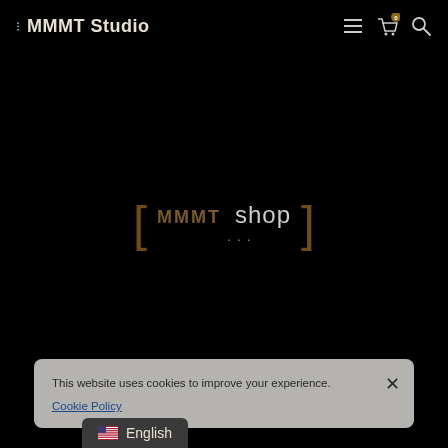MMMT Studio
[ MMMT shop ]
This website uses cookies to improve your experience. Cookie Policy
English